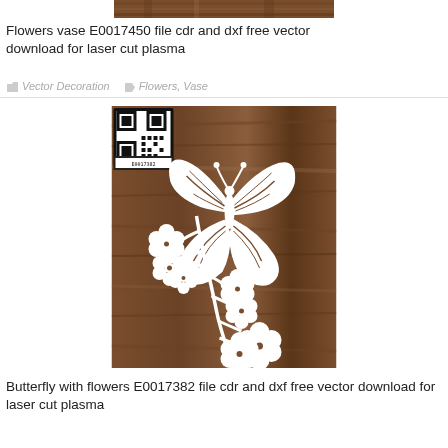[Figure (photo): Partial top strip of a wooden texture image, cropped at top of page]
Flowers vase E0017450 file cdr and dxf free vector download for laser cut plasma
Vector Decoration   Flowers, Vase
[Figure (illustration): White butterfly with flowers laser cut vector design on dark wood grain background, with QR code in top-left corner]
Butterfly with flowers E0017382 file cdr and dxf free vector download for laser cut plasma